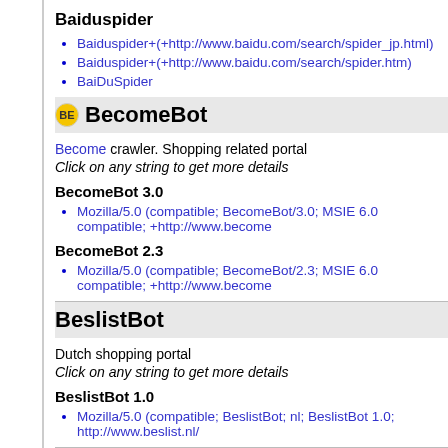Baiduspider
Baiduspider+(+http://www.baidu.com/search/spider_jp.html)
Baiduspider+(+http://www.baidu.com/search/spider.htm)
BaiDuSpider
BecomeBot
Become crawler. Shopping related portal
Click on any string to get more details
BecomeBot 3.0
Mozilla/5.0 (compatible; BecomeBot/3.0; MSIE 6.0 compatible; +http://www.become
BecomeBot 2.3
Mozilla/5.0 (compatible; BecomeBot/2.3; MSIE 6.0 compatible; +http://www.become
BeslistBot
Dutch shopping portal
Click on any string to get more details
BeslistBot 1.0
Mozilla/5.0 (compatible; BeslistBot; nl; BeslistBot 1.0; http://www.beslist.nl/
BillyBobBot